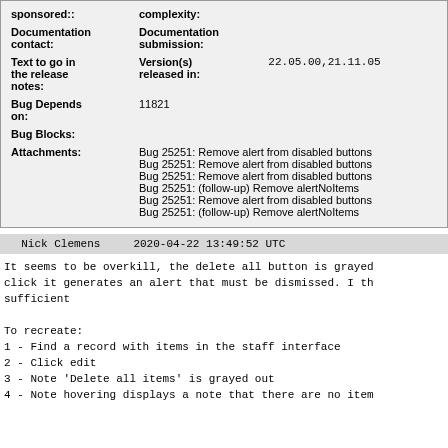| sponsored:: | complexity: |
| Documentation contact: | Documentation submission: |
| Text to go in the release notes: | Version(s) released in: | 22.05.00,21.11.05 |
| Bug Depends on: | 11821 |
| Bug Blocks: |  |
| Attachments: | Bug 25251: Remove alert from disabled buttons
Bug 25251: Remove alert from disabled buttons
Bug 25251: Remove alert from disabled buttons
Bug 25251: (follow-up) Remove alertNoItems
Bug 25251: Remove alert from disabled buttons
Bug 25251: (follow-up) Remove alertNoItems |
Nick Clemens    2020-04-22 13:49:52 UTC
It seems to be overkill, the delete all button is grayed click it generates an alert that must be dismissed. I th sufficient

To recreate:
1 - Find a record with items in the staff interface
2 - Click edit
3 - Note 'Delete all items' is grayed out
4 - Note hovering displays a note that there are no item